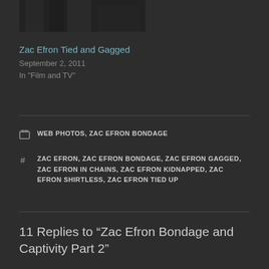[Figure (photo): Partial black and white photograph cropped at top of page]
Zac Efron Tied and Gagged
September 2, 2011
In "Film and TV"
WEB PHOTOS, ZAC EFRON BONDAGE
ZAC EFRON, ZAC EFRON BONDAGE, ZAC EFRON GAGGED, ZAC EFRON IN CHAINS, ZAC EFRON KIDNAPPED, ZAC EFRON SHIRTLESS, ZAC EFRON TIED UP
11 Replies to “Zac Efron Bondage and Captivity Part 2”